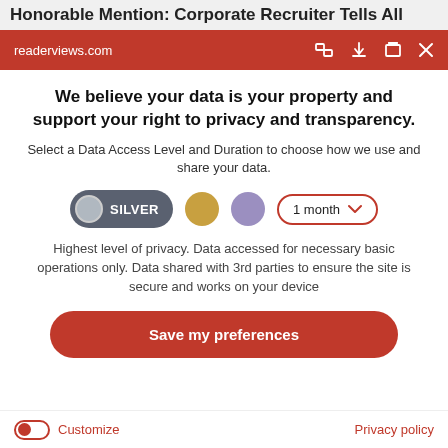Honorable Mention: Corporate Recruiter Tells All
readerviews.com
We believe your data is your property and support your right to privacy and transparency.
Select a Data Access Level and Duration to choose how we use and share your data.
SILVER | 1 month
Highest level of privacy. Data accessed for necessary basic operations only. Data shared with 3rd parties to ensure the site is secure and works on your device
Save my preferences
Customize
Privacy policy